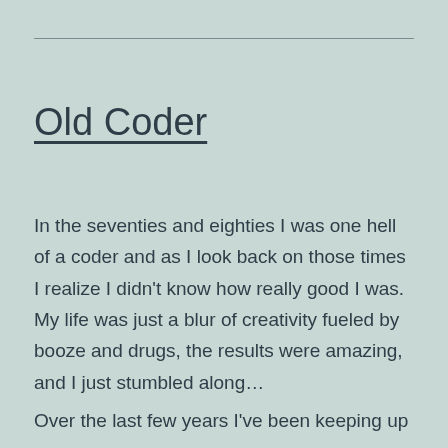Old Coder
In the seventies and eighties I was one hell of a coder and as I look back on those times I realize I didn't know how really good I was. My life was just a blur of creativity fueled by booze and drugs, the results were amazing, and I just stumbled along…
Over the last few years I've been keeping up